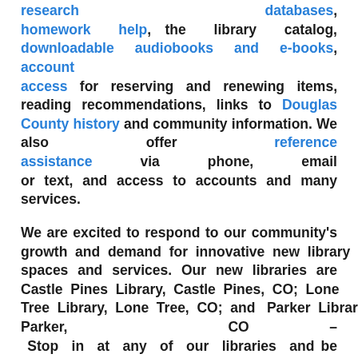Online resources include research databases, homework help, the library catalog, downloadable audiobooks and e-books, account access for reserving and renewing items, reading recommendations, links to Douglas County history and community information. We also offer reference assistance via phone, email or text, and access to accounts and many services.
We are excited to respond to our community's growth and demand for innovative new library spaces and services. Our new libraries are Castle Pines Library, Castle Pines, CO; Lone Tree Library, Lone Tree, CO; and Parker Library, Parker, CO – Stop in at any of our libraries and be amazed!
HR Info